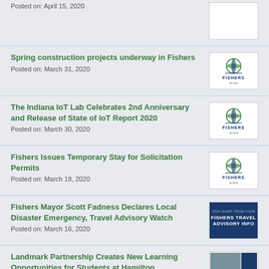Posted on: April 15, 2020
Spring construction projects underway in Fishers
Posted on: March 31, 2020
[Figure (logo): Fishers city logo]
The Indiana IoT Lab Celebrates 2nd Anniversary and Release of State of IoT Report 2020
Posted on: March 30, 2020
[Figure (logo): Fishers city logo]
Fishers Issues Temporary Stay for Solicitation Permits
Posted on: March 18, 2020
[Figure (logo): Fishers city logo]
Fishers Mayor Scott Fadness Declares Local Disaster Emergency, Travel Advisory Watch
Posted on: March 16, 2020
[Figure (other): Fishers Travel Advisory Info blue banner]
Landmark Partnership Creates New Learning Opportunities for Students at Hamilton Southeastern School
[Figure (photo): Landmark partnership photo thumbnail]